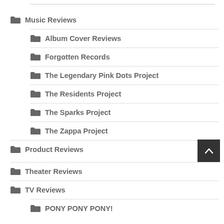Music Reviews
Album Cover Reviews
Forgotten Records
The Legendary Pink Dots Project
The Residents Project
The Sparks Project
The Zappa Project
Product Reviews
Theater Reviews
TV Reviews
PONY PONY PONY!